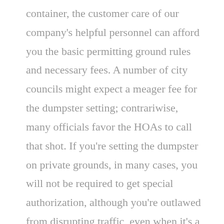container, the customer care of our company's helpful personnel can afford you the basic permitting ground rules and necessary fees. A number of city councils might expect a meager fee for the dumpster setting; contrariwise, many officials favor the HOAs to call that shot. If you're setting the dumpster on private grounds, in many cases, you will not be required to get special authorization, although you're outlawed from disrupting traffic, even when it's a suburban area roadway or a bustling freeway. One can pick up the permit authorized by the